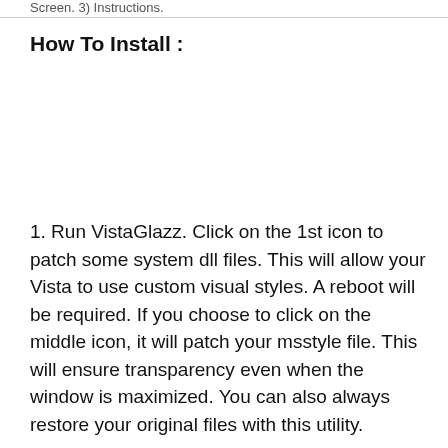Screen. 3) Instructions.
How To Install :
1. Run VistaGlazz. Click on the 1st icon to patch some system dll files. This will allow your Vista to use custom visual styles. A reboot will be required. If you choose to click on the middle icon, it will patch your msstyle file. This will ensure transparency even when the window is maximized. You can also always restore your original files with this utility.